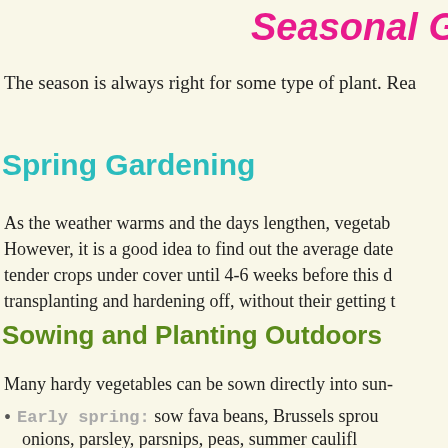Seasonal G...
The season is always right for some type of plant. Rea...
Spring Gardening
As the weather warms and the days lengthen, vegetab... However, it is a good idea to find out the average date... tender crops under cover until 4-6 weeks before this d... transplanting and hardening off, without their getting t...
Sowing and Planting Outdoors
Many hardy vegetables can be sown directly into sun-...
Early spring: sow fava beans, Brussels sprou... onions, parsley, parsnips, peas, summer caulifl...